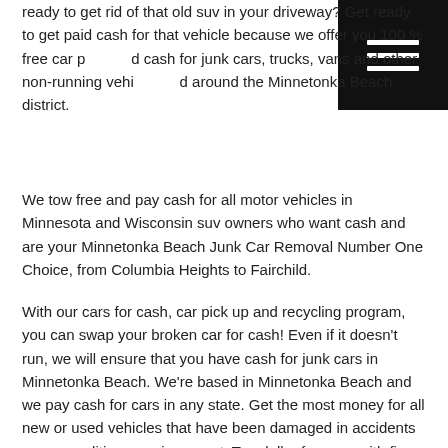ready to get rid of that old suv in your driveway? Get ready to get paid cash for that vehicle because we offer you 100 % free car pickup and cash for junk cars, trucks, vans and other non-running vehicles in and around the Minnetonka Beach district.
[Figure (other): Hamburger menu icon — three horizontal white lines on black square background]
We tow free and pay cash for all motor vehicles in Minnesota and Wisconsin suv owners who want cash and are your Minnetonka Beach Junk Car Removal Number One Choice, from Columbia Heights to Fairchild.
With our cars for cash, car pick up and recycling program, you can swap your broken car for cash! Even if it doesn't run, we will ensure that you have cash for junk cars in Minnetonka Beach. We're based in Minnetonka Beach and we pay cash for cars in any state. Get the most money for all new or used vehicles that have been damaged in accidents – any condition, running or not. Top dollar for vans with fire or water damage. Old cars or new cars that don't run and any other vehicles that you simply want to sell for cash. We don't charge you to tow your car away either. Don't pay some fat guy with a cigar for car removal services! Sell junk motor vehicles for cash with us! We